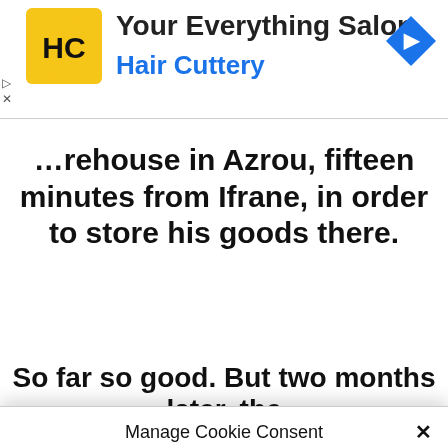[Figure (screenshot): Hair Cuttery advertisement banner with yellow/black HC logo and blue navigation diamond icon]
…rehouse in Azrou, fifteen minutes from Ifrane, in order to store his goods there.
So far so good. But two months later, the
Manage Cookie Consent
To provide the best experiences, we use technologies like cookies to store and/or access device information. Consenting to these technologies will allow us to process data such as browsing behavior or unique IDs on this site. Not consenting or withdrawing consent, may adversely affect certain features and functions.
Accept
Cookie Policy